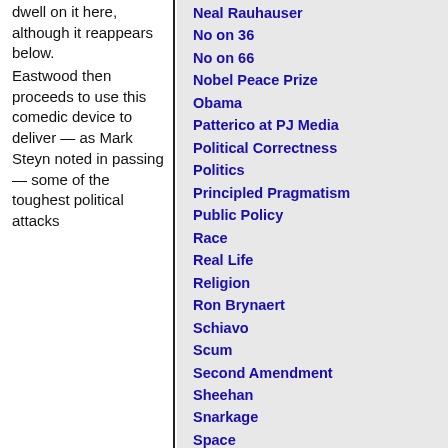dwell on it here, although it reappears below.

Eastwood then proceeds to use this comedic device to deliver — as Mark Steyn noted in passing — some of the toughest political attacks
Neal Rauhauser
No on 36
No on 66
Nobel Peace Prize
Obama
Patterico at PJ Media
Political Correctness
Politics
Principled Pragmatism
Public Policy
Race
Real Life
Religion
Ron Brynaert
Schiavo
Scum
Second Amendment
Sheehan
Snarkage
Space
Sports
Stark Choice
Terrorism
The Fed
Velvet Revolution
War
Watcher's Council
Year in Review
Archives:
August 2022
July 2022